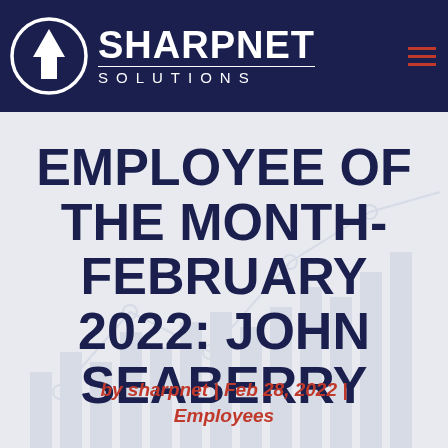[Figure (logo): SharpNet Solutions logo: white circle with upward arrow, white bold text SHARPNET with horizontal rule and SOLUTIONS below in spaced letters, on dark navy background. Red hamburger menu icon top right.]
EMPLOYEE OF THE MONTH- FEBRUARY 2022: JOHN SEABERRY
by sharpnet | Feb 28, 2022 | Employees